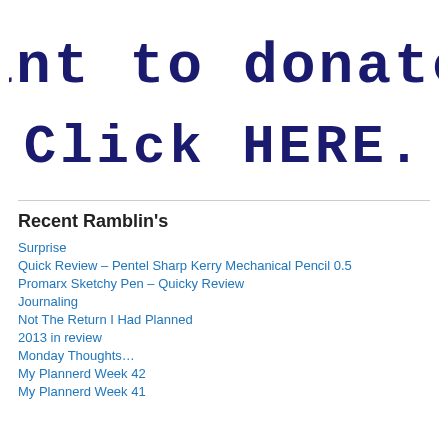[Figure (illustration): Handwritten-style dark navy text reading 'Want to donate! Click HERE.' on white background]
Recent Ramblin's
Surprise
Quick Review – Pentel Sharp Kerry Mechanical Pencil 0.5
Promarx Sketchy Pen – Quicky Review
Journaling
Not The Return I Had Planned
2013 in review
Monday Thoughts…
My Plannerd Week 42
My Plannerd Week 41